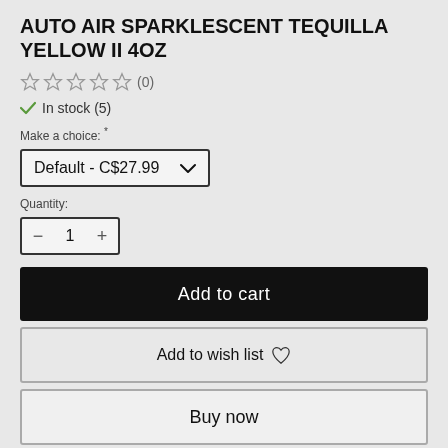AUTO AIR SPARKLESCENT TEQUILLA YELLOW II 4OZ
☆☆☆☆☆ (0)
✓ In stock (5)
Make a choice: *
Default - C$27.99
Quantity:
— 1 +
Add to cart
Add to wish list ♡
Buy now
⇄ Add to compare